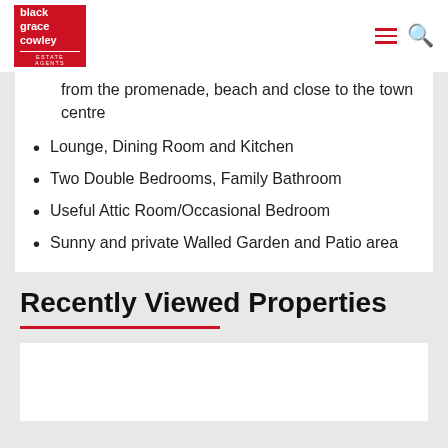black grace cowley ESTATE AGENTS
from the promenade, beach and close to the town centre
Lounge, Dining Room and Kitchen
Two Double Bedrooms, Family Bathroom
Useful Attic Room/Occasional Bedroom
Sunny and private Walled Garden and Patio area
Recently Viewed Properties
[Figure (photo): White placeholder card for a recently viewed property listing]